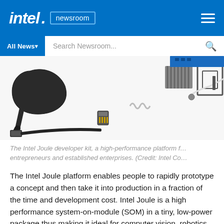intel. newsroom
[Figure (photo): Intel Joule developer kit components laid out on white background: USB cable, microSD card, heatsink, antenna wires, camera mount bracket, and other accessories]
The Intel Joule developer kit, a high-performance platform f… entrepreneurs and established enterprises. (Credit: Intel Co…
The Intel Joule platform enables people to rapidly prototype a concept and then take it into production in a fraction of the time and development cost. Intel Joule is a high performance system-on-module (SOM) in a tiny, low-power package thus making it ideal for computer vision, robotics, drones, industrial IoT, VR, AR, micro-servers and other applications that require high-performance computing.